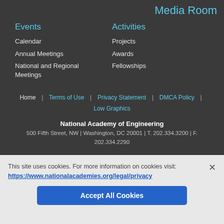Media Room
Events
Activities
Calendar
Annual Meetings
National and Regional Meetings
Projects
Awards
Fellowships
Home | Terms of Use | Privacy Statement | DMCA Policy | Low Graphics
National Academy of Engineering
500 Fifth Street, NW | Washington, DC 20001 | T. 202.334.3200 | F. 202.334.2290
This site uses cookies. For more information on cookies visit:
https://www.nationalacademies.org/legal/privacy
Accept All Cookies